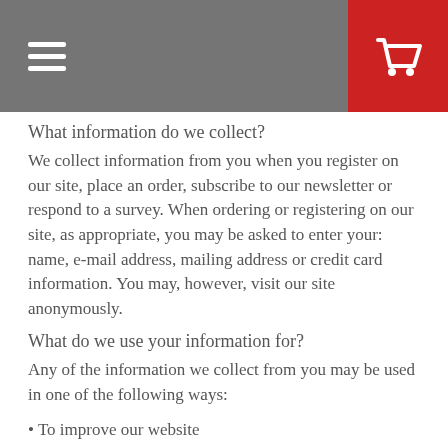Navigation header with menu, user, and cart icons
What information do we collect?
We collect information from you when you register on our site, place an order, subscribe to our newsletter or respond to a survey. When ordering or registering on our site, as appropriate, you may be asked to enter your: name, e-mail address, mailing address or credit card information. You may, however, visit our site anonymously.
What do we use your information for?
Any of the information we collect from you may be used in one of the following ways:
• To improve our website
• To improve customer service
• To process transactions
Your information, whether public or private, will not be sold, exchanged, transferred, or given to any other company for any reason whatsoever, without your consent, other than for the express purpose of delivering the purchased product or service